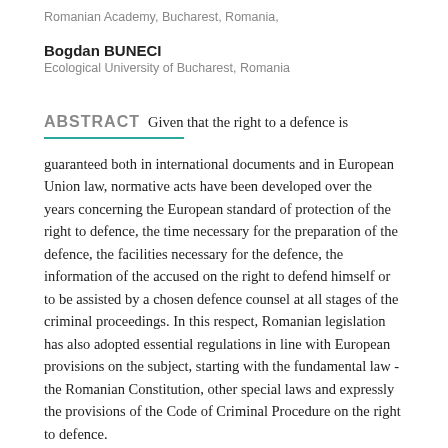Romanian Academy, Bucharest, Romania,
Bogdan BUNECI
Ecological University of Bucharest, Romania
ABSTRACT Given that the right to a defence is
guaranteed both in international documents and in European Union law, normative acts have been developed over the years concerning the European standard of protection of the right to defence, the time necessary for the preparation of the defence, the facilities necessary for the defence, the information of the accused on the right to defend himself or to be assisted by a chosen defence counsel at all stages of the criminal proceedings. In this respect, Romanian legislation has also adopted essential regulations in line with European provisions on the subject, starting with the fundamental law - the Romanian Constitution, other special laws and expressly the provisions of the Code of Criminal Procedure on the right to defence.